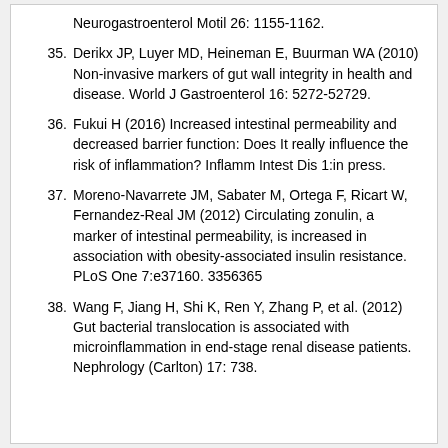Neurogastroenterol Motil 26: 1155-1162.
35. Derikx JP, Luyer MD, Heineman E, Buurman WA (2010) Non-invasive markers of gut wall integrity in health and disease. World J Gastroenterol 16: 5272-52729.
36. Fukui H (2016) Increased intestinal permeability and decreased barrier function: Does It really influence the risk of inflammation? Inflamm Intest Dis 1:in press.
37. Moreno-Navarrete JM, Sabater M, Ortega F, Ricart W, Fernandez-Real JM (2012) Circulating zonulin, a marker of intestinal permeability, is increased in association with obesity-associated insulin resistance. PLoS One 7:e37160. 3356365
38. Wang F, Jiang H, Shi K, Ren Y, Zhang P, et al. (2012) Gut bacterial translocation is associated with microinflammation in end-stage renal disease patients. Nephrology (Carlton) 17: 738.